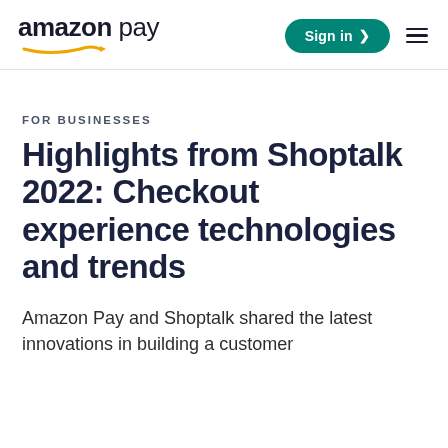amazon pay | Sign in > ≡
FOR BUSINESSES
Highlights from Shoptalk 2022: Checkout experience technologies and trends
Amazon Pay and Shoptalk shared the latest innovations in building a customer